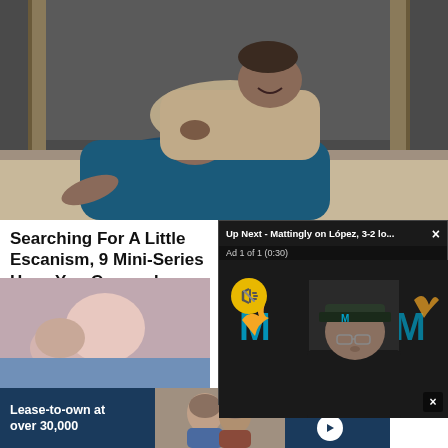[Figure (photo): Two men in a hallway, one on top of the other laughing/struggling on the floor, seen through a low angle shot in a dimly lit indoor scene]
Searching For A Little Escanism, 9 Mini-Series Have You Covered
BRAINBERRIES
[Figure (photo): Close-up of hands/body, thumbnail for article]
[Figure (screenshot): Video popup overlay: 'Up Next - Mattingly on López, 3-2 lo...' with Ad 1 of 1 (0:30), showing a man in a Marlins cap at a press conference with Miami Marlins logos in background. Yellow mute button visible.]
[Figure (photo): Bottom advertisement banner: 'Lease-to-own at over 30,000' with couple image, Progressive Leasing logo and play button]